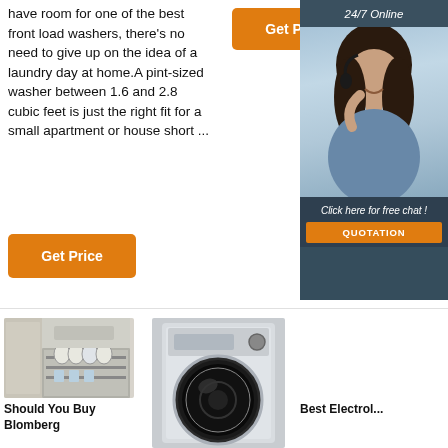have room for one of the best front load washers, there's no need to give up on the idea of a laundry day at home.A pint-sized washer between 1.6 and 2.8 cubic feet is just the right fit for a small apartment or house short ...
[Figure (other): Orange 'Get Price' button (top)]
[Figure (other): Sidebar advertisement with woman wearing headset, '24/7 Online' header, 'Click here for free chat!' text, and orange QUOTATION button]
[Figure (other): Orange 'Get Price' button (bottom)]
[Figure (photo): Open dishwasher loaded with dishes]
[Figure (photo): Front-load washing machine, silver/white]
[Figure (photo): Dark kitchen scene with orange navigation arrows overlay and scroll-up button]
Should You Buy Blomberg
Best Electrol...